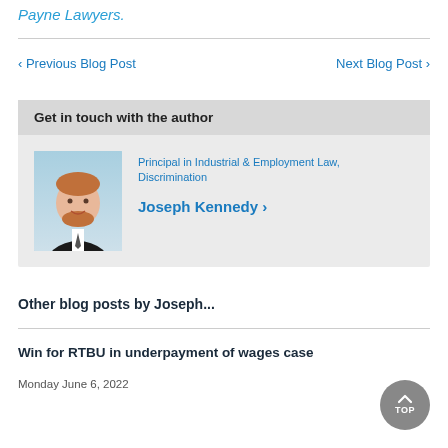Payne Lawyers.
< Previous Blog Post   Next Blog Post >
Get in touch with the author
[Figure (photo): Headshot photo of Joseph Kennedy, a man with red beard in a dark suit]
Principal in Industrial & Employment Law, Discrimination
Joseph Kennedy >
Other blog posts by Joseph...
Win for RTBU in underpayment of wages case
Monday June 6, 2022